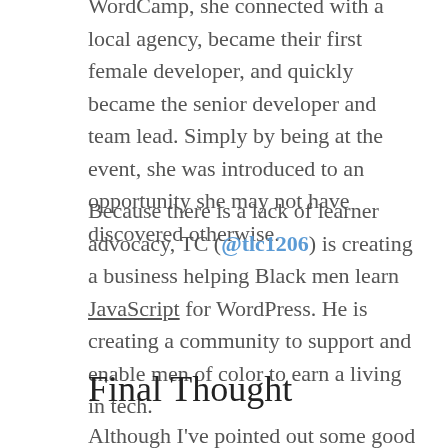Kirsten contributed at our local Vancouver WordCamp, she connected with a local agency, became their first female developer, and quickly became the senior developer and team lead. Simply by being at the event, she was introduced to an opportunity she may not have discovered otherwise.
Because there is a lack of learner advocacy, TC (@tlc1206) is creating a business helping Black men learn JavaScript for WordPress. He is creating a community to support and enable men of color to earn a living in tech.
Final Thought
Although I've pointed out some good reasons above, you don't need an objective reason to